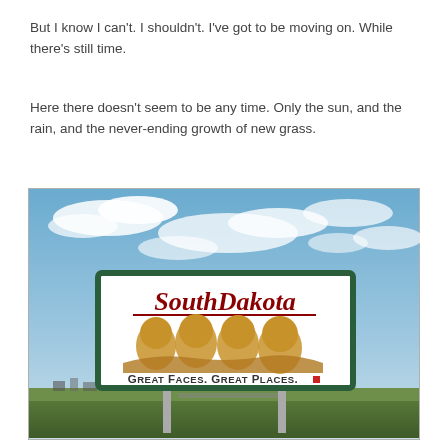But I know I can't. I shouldn't. I've got to be moving on. While there's still time.
Here there doesn't seem to be any time. Only the sun, and the rain, and the never-ending growth of new grass.
[Figure (photo): A roadside welcome sign for South Dakota reading 'South Dakota – Great Faces. Great Places.' with an illustration of Mount Rushmore faces, set against a blue sky with clouds. The sign is mounted on metal posts with flat plains and distant buildings in the background.]